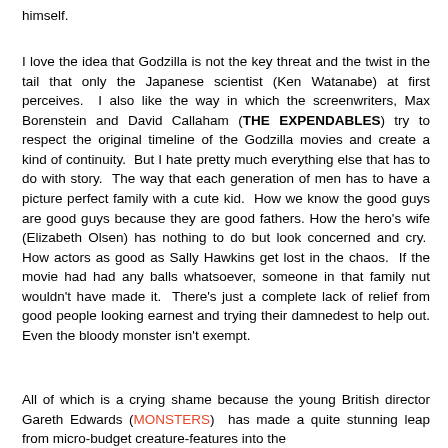himself.
I love the idea that Godzilla is not the key threat and the twist in the tail that only the Japanese scientist (Ken Watanabe) at first perceives.  I also like the way in which the screenwriters, Max Borenstein and David Callaham (THE EXPENDABLES) try to respect the original timeline of the Godzilla movies and create a kind of continuity.  But I hate pretty much everything else that has to do with story.  The way that each generation of men has to have a picture perfect family with a cute kid.  How we know the good guys are good guys because they are good fathers. How the hero's wife (Elizabeth Olsen) has nothing to do but look concerned and cry.  How actors as good as Sally Hawkins get lost in the chaos.  If the movie had had any balls whatsoever, someone in that family nut wouldn't have made it.  There's just a complete lack of relief from good people looking earnest and trying their damnedest to help out. Even the bloody monster isn't exempt.
All of which is a crying shame because the young British director Gareth Edwards (MONSTERS)  has made a quite stunning leap from micro-budget creature-features into the